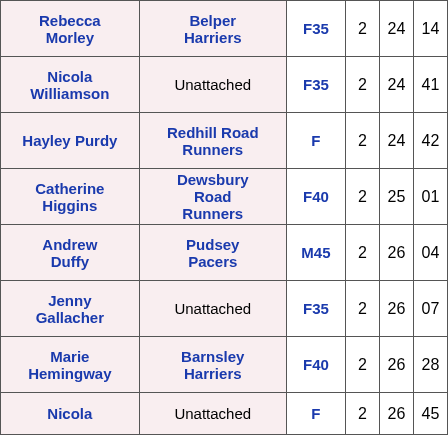| Name | Club | Cat |  |  |  |
| --- | --- | --- | --- | --- | --- |
| Rebecca Morley | Belper Harriers | F35 | 2 | 24 | 14... |
| Nicola Williamson | Unattached | F35 | 2 | 24 | 41... |
| Hayley Purdy | Redhill Road Runners | F | 2 | 24 | 42... |
| Catherine Higgins | Dewsbury Road Runners | F40 | 2 | 25 | 01... |
| Andrew Duffy | Pudsey Pacers | M45 | 2 | 26 | 04... |
| Jenny Gallacher | Unattached | F35 | 2 | 26 | 07... |
| Marie Hemingway | Barnsley Harriers | F40 | 2 | 26 | 28... |
| Nicola | Unattached | F | 2 | 26 | 45... |